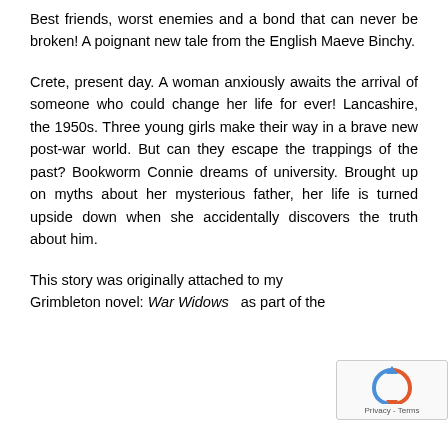Best friends, worst enemies and a bond that can never be broken! A poignant new tale from the English Maeve Binchy.
Crete, present day. A woman anxiously awaits the arrival of someone who could change her life for ever! Lancashire, the 1950s. Three young girls make their way in a brave new post-war world. But can they escape the trappings of the past? Bookworm Connie dreams of university. Brought up on myths about her mysterious father, her life is turned upside down when she accidentally discovers the truth about him.
This story was originally attached to my Grimbleton novel: War Widows as part of the